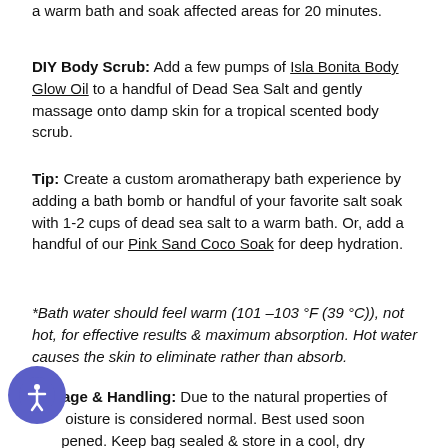a warm bath and soak affected areas for 20 minutes.
DIY Body Scrub: Add a few pumps of Isla Bonita Body Glow Oil to a handful of Dead Sea Salt and gently massage onto damp skin for a tropical scented body scrub.
Tip: Create a custom aromatherapy bath experience by adding a bath bomb or handful of your favorite salt soak with 1-2 cups of dead sea salt to a warm bath. Or, add a handful of our Pink Sand Coco Soak for deep hydration.
*Bath water should feel warm (101 –103 °F (39 °C)), not hot, for effective results & maximum absorption. Hot water causes the skin to eliminate rather than absorb.
Storage & Handling: Due to the natural properties of moisture is considered normal. Best used soon pened. Keep bag sealed & store in a cool, dry away from humidity.